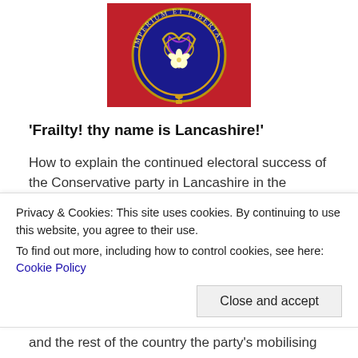[Figure (illustration): A circular enamel badge/brooch with blue enamel background, gold knotwork, a white flower at centre, and text reading IMPERIUM ET LIBERTAS around the border, on a red background.]
'Frailty! thy name is Lancashire!'
How to explain the continued electoral success of the Conservative party in Lancashire in the second half of the 19th century despite a widening franchise that gave working class men...
Privacy & Cookies: This site uses cookies. By continuing to use this website, you agree to their use.
To find out more, including how to control cookies, see here: Cookie Policy
and the rest of the country the party's mobilising